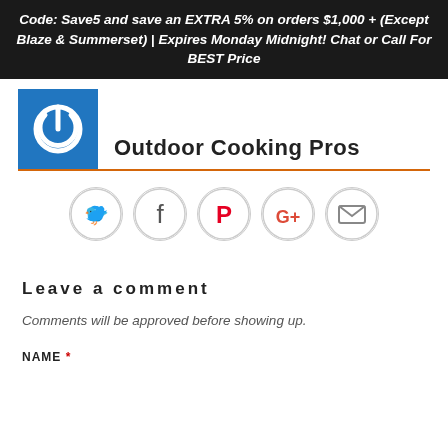Code: Save5 and save an EXTRA 5% on orders $1,000 + (Except Blaze & Summerset) | Expires Monday Midnight! Chat or Call For BEST Price
[Figure (logo): Outdoor Cooking Pros logo: blue square with white power button icon]
Outdoor Cooking Pros
[Figure (infographic): Social sharing icons row: Twitter (blue bird), Facebook (f), Pinterest (P in red), Google+ (G+ in red), Email (envelope)]
Leave a comment
Comments will be approved before showing up.
NAME *